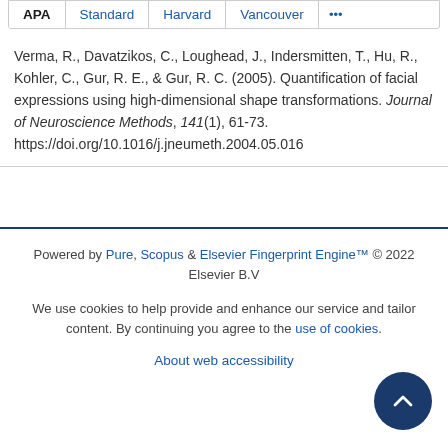APA | Standard | Harvard | Vancouver | ...
Verma, R., Davatzikos, C., Loughead, J., Indersmitten, T., Hu, R., Kohler, C., Gur, R. E., & Gur, R. C. (2005). Quantification of facial expressions using high-dimensional shape transformations. Journal of Neuroscience Methods, 141(1), 61-73. https://doi.org/10.1016/j.jneumeth.2004.05.016
Powered by Pure, Scopus & Elsevier Fingerprint Engine™ © 2022 Elsevier B.V
We use cookies to help provide and enhance our service and tailor content. By continuing you agree to the use of cookies
About web accessibility